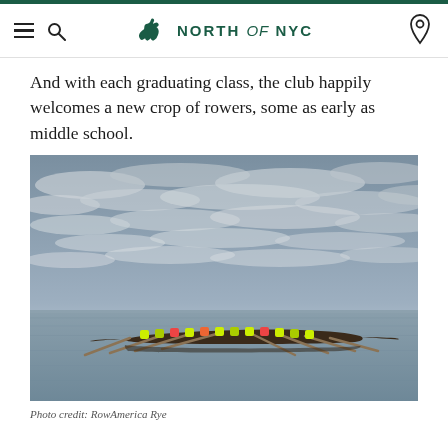NORTH of NYC
And with each graduating class, the club happily welcomes a new crop of rowers, some as early as middle school.
[Figure (photo): Aerial/wide-angle photograph of a rowing crew team in a long rowing shell on calm water under a dramatic cloudy sky. The rowers are wearing bright green/neon and red clothing. The water reflects the overcast sky and the boat is centered in the lower portion of the image.]
Photo credit: RowAmerica Rye